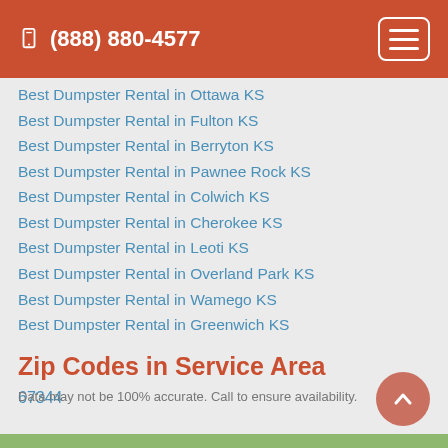(888) 880-4577
Best Dumpster Rental in Ottawa KS
Best Dumpster Rental in Fulton KS
Best Dumpster Rental in Berryton KS
Best Dumpster Rental in Pawnee Rock KS
Best Dumpster Rental in Colwich KS
Best Dumpster Rental in Cherokee KS
Best Dumpster Rental in Leoti KS
Best Dumpster Rental in Overland Park KS
Best Dumpster Rental in Wamego KS
Best Dumpster Rental in Greenwich KS
Zip Codes in Service Area
67344
Data may not be 100% accurate. Call to ensure availability.